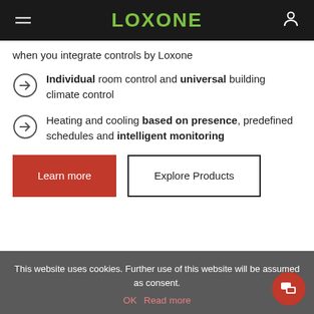LOXONE
when you integrate controls by Loxone
Individual room control and universal building climate control
Heating and cooling based on presence, predefined schedules and intelligent monitoring
Learn more
Explore Products
This website uses cookies. Further use of this website will be assumed as consent.
OK  Read more